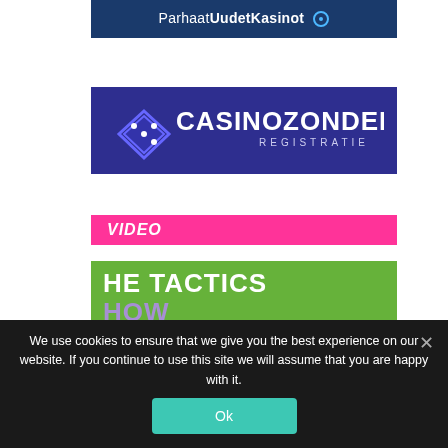[Figure (logo): Parhaat UudetKasinot banner with dark blue background and white text, with a small circle logo on the right]
[Figure (logo): CasinoZonder Registratie logo on dark navy/purple background with diamond dice icon]
[Figure (other): Pink/magenta VIDEO label banner]
[Figure (other): Green background with white text 'THE TACTICS' and purple text 'SHOW']
We use cookies to ensure that we give you the best experience on our website. If you continue to use this site we will assume that you are happy with it.